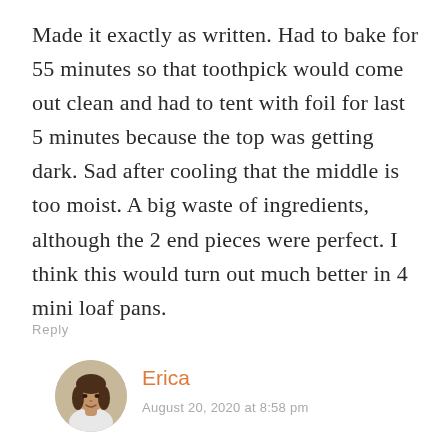Made it exactly as written. Had to bake for 55 minutes so that toothpick would come out clean and had to tent with foil for last 5 minutes because the top was getting dark. Sad after cooling that the middle is too moist. A big waste of ingredients, although the 2 end pieces were perfect. I think this would turn out much better in 4 mini loaf pans.
Reply
[Figure (photo): Circular avatar photo of a woman with dark hair]
Erica
August 20, 2020 at 8:58 pm